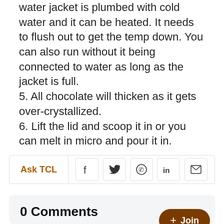water jacket is plumbed with cold water and it can be heated. It needs to flush out to get the temp down. You can also run without it being connected to water as long as the jacket is full.
5. All chocolate will thicken as it gets over-crystallized.
6. Lift the lid and scoop it in or you can melt in micro and pour it in.
[Figure (infographic): Share bar with Ask TCL label and social media icons: Facebook, Twitter, WhatsApp, LinkedIn, Email]
0 Comments
Sign in or become a The Chocolate member to join the conversation. Just enter your email below to get a log in